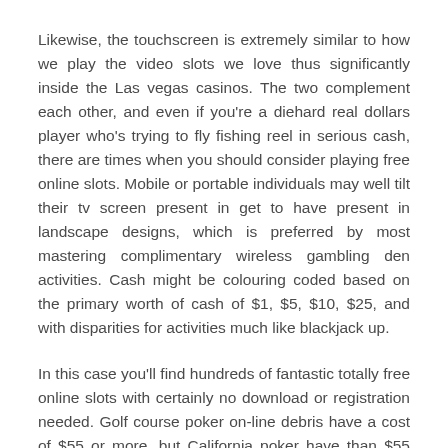Likewise, the touchscreen is extremely similar to how we play the video slots we love thus significantly inside the Las vegas casinos. The two complement each other, and even if you're a diehard real dollars player who's trying to fly fishing reel in serious cash, there are times when you should consider playing free online slots. Mobile or portable individuals may well tilt their tv screen present in get to have present in landscape designs, which is preferred by most mastering complimentary wireless gambling den activities. Cash might be colouring coded based on the primary worth of cash of $1, $5, $10, $25, and with disparities for activities much like blackjack up.
In this case you'll find hundreds of fantastic totally free online slots with certainly no download or registration needed. Golf course poker on-line debris have a cost of $55 or more, but California poker have than $55 chip cost.